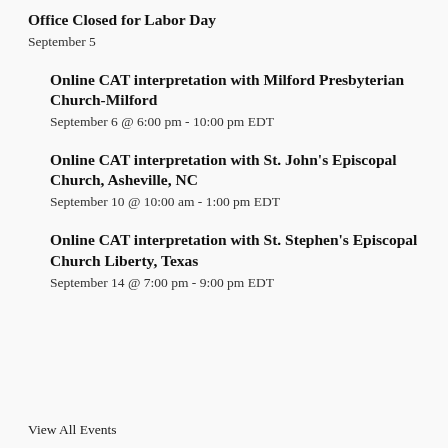Office Closed for Labor Day
September 5
Online CAT interpretation with Milford Presbyterian Church-Milford
September 6 @ 6:00 pm - 10:00 pm EDT
Online CAT interpretation with St. John's Episcopal Church, Asheville, NC
September 10 @ 10:00 am - 1:00 pm EDT
Online CAT interpretation with St. Stephen's Episcopal Church Liberty, Texas
September 14 @ 7:00 pm - 9:00 pm EDT
View All Events